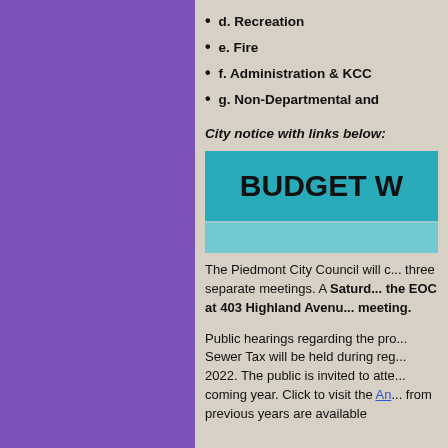d. Recreation
e. Fire
f. Administration & KCC
g. Non-Departmental and
City notice with links below:
[Figure (other): Teal banner with bold text 'BUDGET W']
The Piedmont City Council will c... three separate meetings. A Saturday... the EOC at 403 Highland Avenu... meeting.
Public hearings regarding the pro... Sewer Tax will be held during reg... 2022. The public is invited to atte... coming year. Click to visit the An... from previous years are available